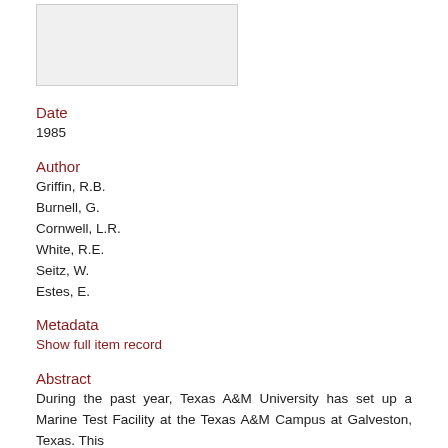[Figure (other): Thumbnail image placeholder, light gray rectangle with border]
Date
1985
Author
Griffin, R.B.
Burnell, G.
Cornwell, L.R.
White, R.E.
Seitz, W.
Estes, E.
Metadata
Show full item record
Abstract
During the past year, Texas A&M University has set up a Marine Test Facility at the Texas A&M Campus at Galveston, Texas. This